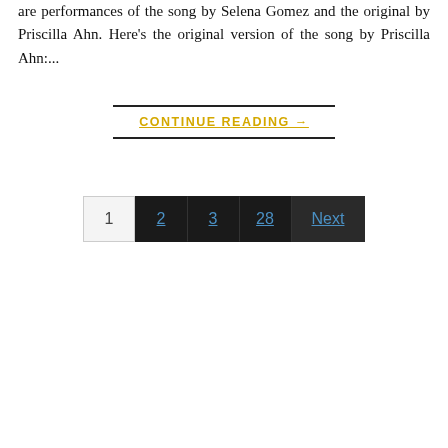are performances of the song by Selena Gomez and the original by Priscilla Ahn. Here's the original version of the song by Priscilla Ahn:...
CONTINUE READING →
1  2  3  28  Next